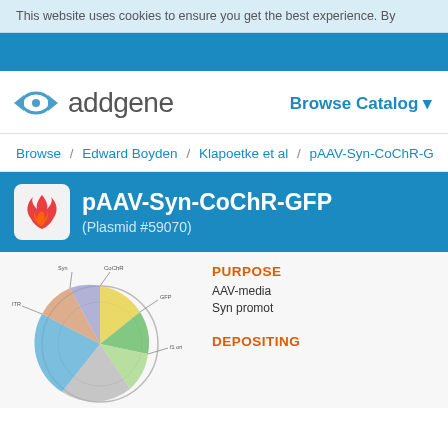This website uses cookies to ensure you get the best experience. By
[Figure (logo): Addgene logo with eye icon and 'addgene' text, plus 'Browse Catalog' nav link]
Browse / Edward Boyden / Klapoetke et al / pAAV-Syn-CoChR-G
pAAV-Syn-CoChR-GFP (Plasmid #59070)
[Figure (other): Circular plasmid map diagram showing pAAV-Syn-CoChR-GFP plasmid features including various genetic elements labeled around the circle]
PURPOSE
AAV-media Syn promot
DEPOSITING